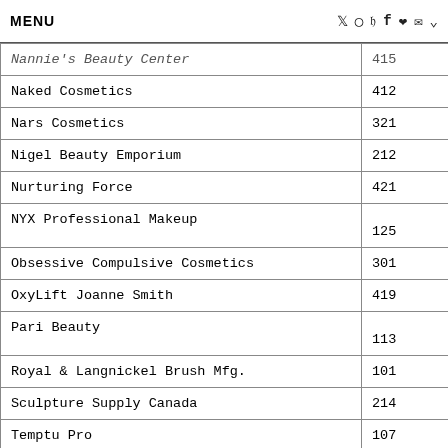MENU | Twitter | Instagram | Pinterest | Facebook | Favorite | Email | Dropdown
| Name | Number |
| --- | --- |
| Nannie's Beauty Center | 415 |
| Naked Cosmetics | 412 |
| Nars Cosmetics | 321 |
| Nigel Beauty Emporium | 212 |
| Nurturing Force | 421 |
| NYX Professional Makeup | 125 |
| Obsessive Compulsive Cosmetics | 301 |
| OxyLift Joanne Smith | 419 |
| Pari Beauty | 113 |
| Royal & Langnickel Brush Mfg. | 101 |
| Sculpture Supply Canada | 214 |
| Temptu Pro | 107 |